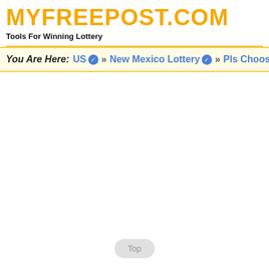MYFREEPOST.COM
Tools For Winning Lottery
You Are Here:  US » New Mexico Lottery » Pls Choose